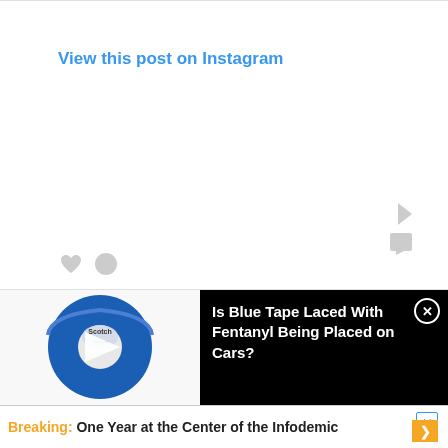View this post on Instagram
[Figure (screenshot): Instagram post embed placeholder with heart and comment icons at bottom]
[Figure (screenshot): Video thumbnail showing a roll of blue Scotch masking tape with a play button, beside text panel reading 'Is Blue Tape Laced With Fentanyl Being Placed on Cars?' with close X button]
Is Blue Tape Laced With Fentanyl Being Placed on Cars?
Breaking: One Year at the Center of the Infodemic